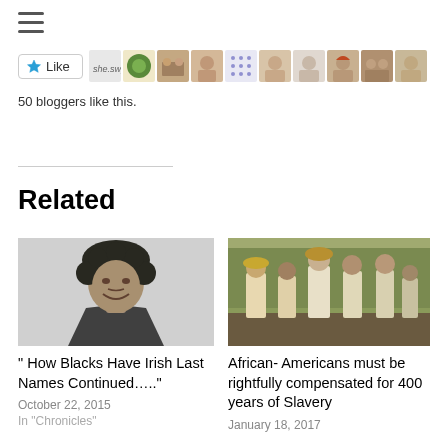[Figure (other): Hamburger menu icon (three horizontal lines)]
[Figure (other): Like button with star icon and 50 blogger avatar thumbnails strip]
50 bloggers like this.
Related
[Figure (photo): Black and white photo of a young man with curly hair, smiling, wearing a jacket]
" How Blacks Have Irish Last Names Continued….."
October 22, 2015
In "Chronicles"
[Figure (photo): Color photo of a group of African American men in period clothing standing in a field, from the film 12 Years a Slave]
African- Americans must be rightfully compensated for 400 years of Slavery
January 18, 2017